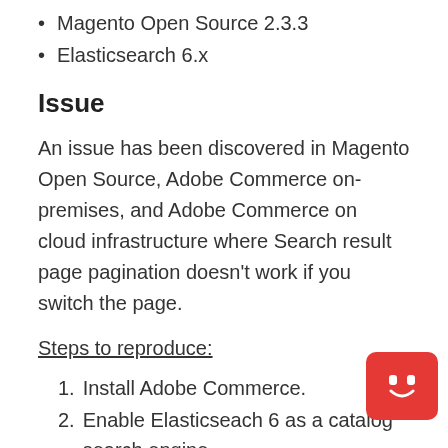Magento Open Source 2.3.3
Elasticsearch 6.x
Issue
An issue has been discovered in Magento Open Source, Adobe Commerce on-premises, and Adobe Commerce on cloud infrastructure where Search result page pagination doesn't work if you switch the page.
Steps to reproduce:
1. Install Adobe Commerce.
2. Enable Elasticseach 6 as a catalog search engine.
3. Add a number of products to Category...